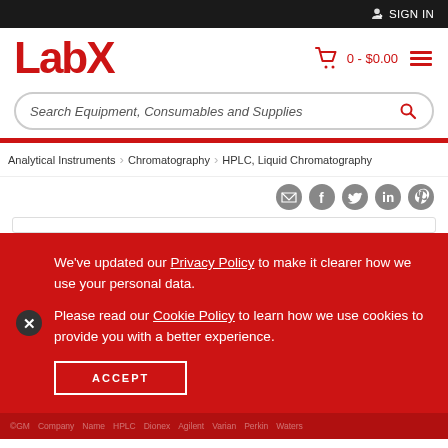SIGN IN
[Figure (logo): LabX logo in red bold text]
0 - $0.00
Search Equipment, Consumables and Supplies
Analytical Instruments > Chromatography > HPLC, Liquid Chromatography
[Figure (infographic): Social share icons: email, Facebook, Twitter, LinkedIn, Pinterest]
We’ve updated our Privacy Policy to make it clearer how we use your personal data.

Please read our Cookie Policy to learn how we use cookies to provide you with a better experience.
ACCEPT